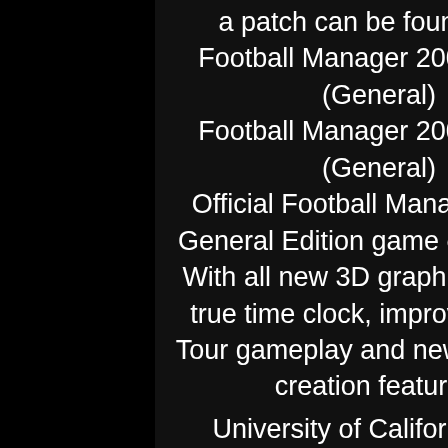a patch can be found here:
Football Manager 2007 for PC (General)
Football Manager 2007 for PC (General)
Official Football Manager 2007: General Edition game of the year. With all new 3D graphics engine, true time clock, improved World Tour gameplay and new character creation features.
University of California, San Diego Computer Games
- Sports/Team Management
University of California, San Diego Computer Games (UCTG) is the first "academic" sports team management simulation (UMTS) for Windows and Mac.
Playoffs Simulation
Playoffs Simulation is a simulation sports game for Windows. It is a direct competitor to Basketball Simulator 2002. It differs from Basketball Simulator 2002 in that the rosters are updated at the end of each season. It